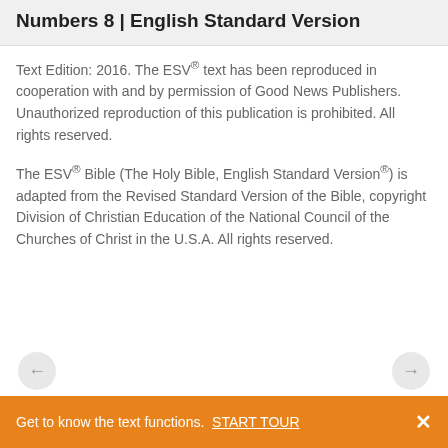Numbers 8 | English Standard Version
Text Edition: 2016. The ESV® text has been reproduced in cooperation with and by permission of Good News Publishers. Unauthorized reproduction of this publication is prohibited. All rights reserved.
The ESV® Bible (The Holy Bible, English Standard Version®) is adapted from the Revised Standard Version of the Bible, copyright Division of Christian Education of the National Council of the Churches of Christ in the U.S.A. All rights reserved.
Get to know the text functions. START TOUR ×